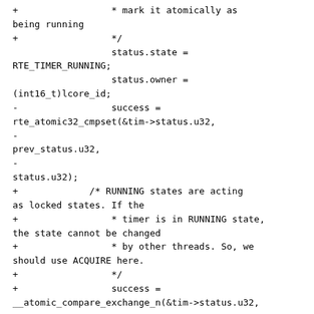+                 * mark it atomically as being running
+                 */
                  status.state = RTE_TIMER_RUNNING;
                  status.owner = (int16_t)lcore_id;
-                 success = rte_atomic32_cmpset(&tim->status.u32,
-
prev_status.u32,
-
status.u32);
+             /* RUNNING states are acting as locked states. If the
+                 * timer is in RUNNING state, the state cannot be changed
+                 * by other threads. So, we should use ACQUIRE here.
+                 */
+                 success =
__atomic_compare_exchange_n(&tim->status.u32,
+
&prev_status.u32,
+
status.u32, 0,
+
__ATOMIC_ACQUIRE,
+
__ATOMIC_RELAXED);